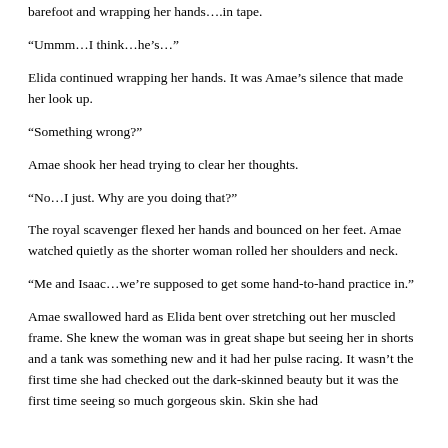barefoot and wrapping her hands…in tape.
“Ummm…I think…he’s…”
Elida continued wrapping her hands. It was Amae’s silence that made her look up.
“Something wrong?”
Amae shook her head trying to clear her thoughts.
“No…I just. Why are you doing that?”
The royal scavenger flexed her hands and bounced on her feet. Amae watched quietly as the shorter woman rolled her shoulders and neck.
“Me and Isaac…we’re supposed to get some hand-to-hand practice in.”
Amae swallowed hard as Elida bent over stretching out her muscled frame. She knew the woman was in great shape but seeing her in shorts and a tank was something new and it had her pulse racing. It wasn’t the first time she had checked out the dark-skinned beauty but it was the first time seeing so much gorgeous skin. Skin she had